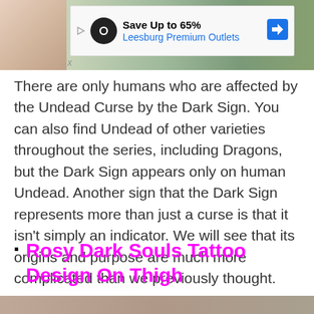[Figure (photo): Top photo strip showing partial human figures, partially obscured by an ad banner]
[Figure (screenshot): Ad banner: Save Up to 65% Leesburg Premium Outlets]
There are only humans who are affected by the Undead Curse by the Dark Sign. You can also find Undead of other varieties throughout the series, including Dragons, but the Dark Sign appears only on human Undead. Another sign that the Dark Sign represents more than just a curse is that it isn't simply an indicator. We will see that its origins and purpose are much more complicated than we previously thought.
Rosy Dark Souls Tattoo Design On Thigh
[Figure (photo): Bottom photo strip, partial view]